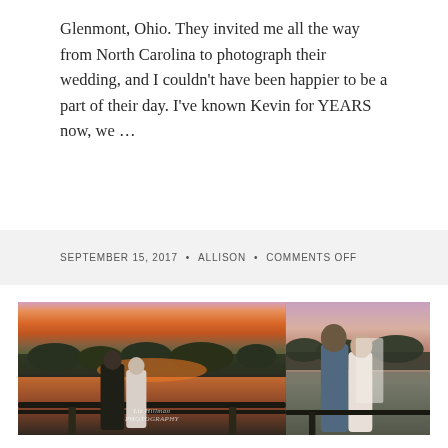Glenmont, Ohio. They invited me all the way from North Carolina to photograph their wedding, and I couldn't have been happier to be a part of their day. I've known Kevin for YEARS now, we …
SEPTEMBER 15, 2017 • ALLISON • COMMENTS OFF
[Figure (photo): Two side-by-side wedding photos of a bride and groom at sunset near a waterfront. Left photo shows the couple laughing together, groom in a teal suit with bow tie, bride in white lace dress. Right photo shows the couple close together forehead to forehead. Warm sunset sky with pink and orange clouds reflected on the water. A watermark reading 'Liz Hillman Photography' appears on the left image.]